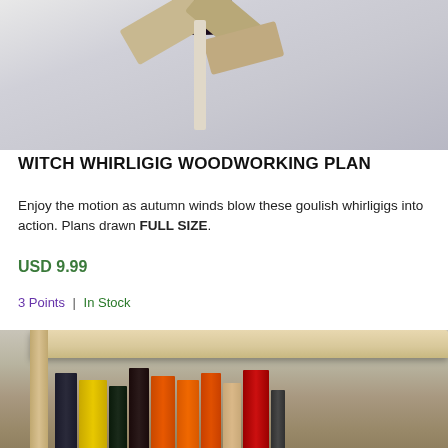[Figure (photo): Witch whirligig woodworking project photo showing wooden whirligig with spinning blades and witch hat on a post, light grey background]
WITCH WHIRLIGIG WOODWORKING PLAN
Enjoy the motion as autumn winds blow these goulish whirligigs into action. Plans drawn FULL SIZE.
USD 9.99
3 Points | In Stock
[Figure (photo): Photo of a wooden bookshelf with books, including yellow, orange, red and dark-colored books arranged on a wooden shelf]